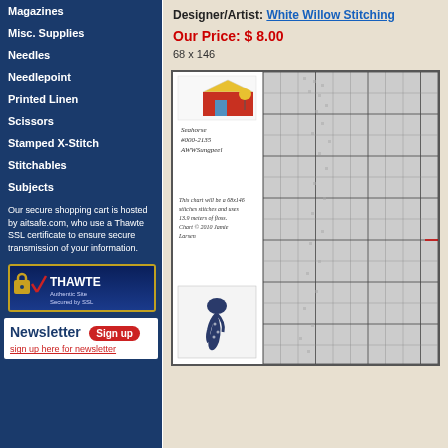Magazines
Misc. Supplies
Needles
Needlepoint
Printed Linen
Scissors
Stamped X-Stitch
Stitchables
Subjects
Our secure shopping cart is hosted by aitsafe.com, who use a Thawte SSL certificate to ensure secure transmission of your information.
[Figure (logo): Thawte Authentic Site Secured by SSL badge]
Newsletter Sign up
sign up here for newsletter
Designer/Artist: White Willow Stitching
Our Price: $ 8.00
68 x 146
[Figure (photo): Cross stitch chart preview showing seahorse pattern with grid and thumbnail image of finished seahorse in navy blue]